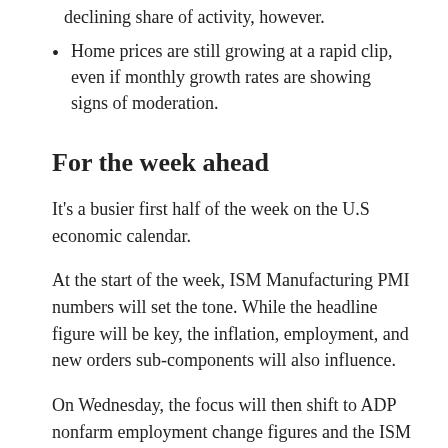declining share of activity, however.
Home prices are still growing at a rapid clip, even if monthly growth rates are showing signs of moderation.
For the week ahead
It's a busier first half of the week on the U.S economic calendar.
At the start of the week, ISM Manufacturing PMI numbers will set the tone. While the headline figure will be key, the inflation, employment, and new orders sub-components will also influence.
On Wednesday, the focus will then shift to ADP nonfarm employment change figures and the ISM